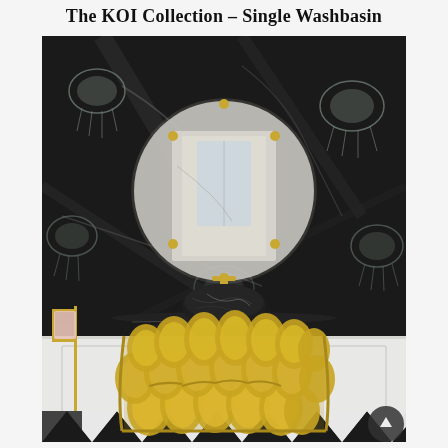The KOI Collection – Single Washbasin
[Figure (photo): Luxury bathroom featuring the KOI Collection single washbasin: a semicircular gold metallic vanity unit with fish-scale/petal-shaped gold structural elements, topped with a black marble surface and a round black marble vessel sink with gold faucet. Behind it, a large round mirror with gold ball accents is mounted on a dramatic dark black marble wall decorated with jellyfish/ghost motifs in grey. The floor features a black and white diamond checkerboard pattern. A pink towel hangs on a gold towel rack to the left.]